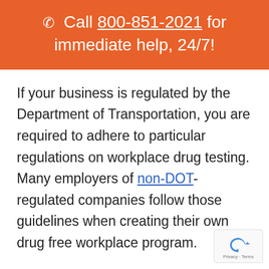☎ Call 800-851-2021 for immediate help, 24/7!
If your business is regulated by the Department of Transportation, you are required to adhere to particular regulations on workplace drug testing. Many employers of non-DOT-regulated companies follow those guidelines when creating their own drug free workplace program.